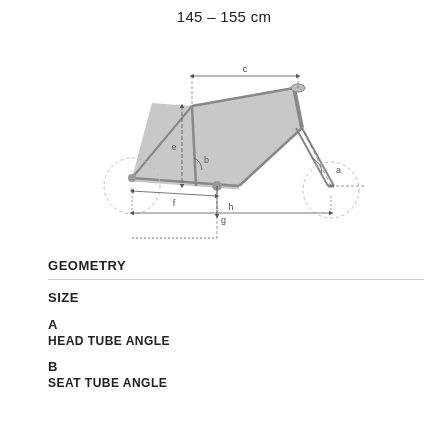145 – 155 cm
[Figure (engineering-diagram): Bicycle frame geometry diagram showing a mountain bike frame with labeled dimension lines: c (top tube length), e (seat tube length), f (chainstay/reach), g (bottom bracket drop), h (wheelbase), a (head tube angle), b (seat tube angle), and other measurements indicated with dashed and solid lines.]
GEOMETRY
SIZE
A
HEAD TUBE ANGLE
B
SEAT TUBE ANGLE